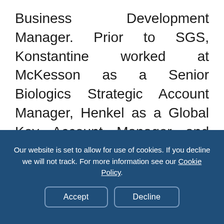Business Development Manager. Prior to SGS, Konstantine worked at McKesson as a Senior Biologics Strategic Account Manager, Henkel as a Global Key Account Manager and Johnson and Johnson as a Sales Specialist/District Manager. For several years, Konstantine was President
Our website is set to allow for use of cookies. If you decline we will not track. For more information see our Cookie Policy.